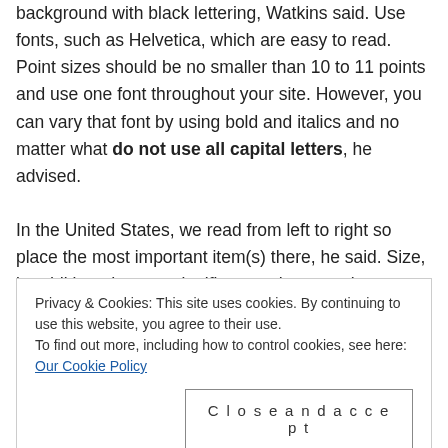background with black lettering, Watkins said. Use fonts, such as Helvetica, which are easy to read. Point sizes should be no smaller than 10 to 11 points and use one font throughout your site. However, you can vary that font by using bold and italics and no matter what do not use all capital letters, he advised.
In the United States, we read from left to right so place the most important item(s) there, he said. Size, in addition, denotes significance, thus your largest lettering is the most prominent with each degradation in point size portraying less relevance, Watkins continued.
Privacy & Cookies: This site uses cookies. By continuing to use this website, you agree to their use. To find out more, including how to control cookies, see here: Our Cookie Policy
not to use white lettering. Because when you print out white